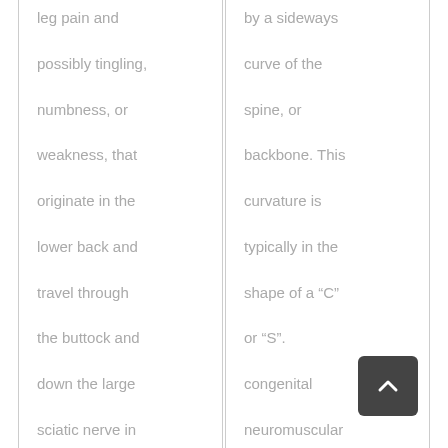leg pain and possibly tingling, numbness, or weakness, that originate in the lower back and travel through the buttock and down the large sciatic nerve in the back [...]
by a sideways curve of the spine, or backbone. This curvature is typically in the shape of a “C” or “S”. congenital neuromuscular degenerative and idiopathic.